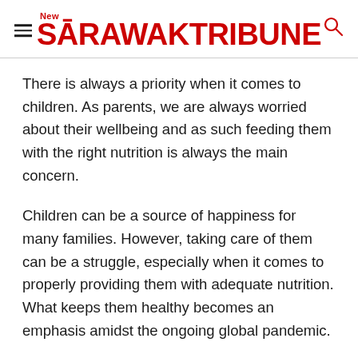New Sarawak Tribune
There is always a priority when it comes to children. As parents, we are always worried about their wellbeing and as such feeding them with the right nutrition is always the main concern.
Children can be a source of happiness for many families. However, taking care of them can be a struggle, especially when it comes to properly providing them with adequate nutrition. What keeps them healthy becomes an emphasis amidst the ongoing global pandemic.